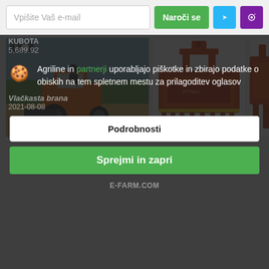Vpišite Vaš e-mail
Naroči se
[Figure (screenshot): Kubota tractor mowing a field, with a photo count badge showing '8' and camera icon]
[Figure (photo): Orange RT2seo tiller/rotovator agricultural machine on white background]
[Figure (photo): Partially visible orange agricultural implement]
Agriline in partnerji uporabljajo piškotke in zbirajo podatke o obiskih na tem spletnem mestu za prilagoditev oglasov
KUBOTA
5,689.92
Vlačkasta brana
2021-08-08
Podrobnosti
Sprejmi in zapri
E-FARM.COM